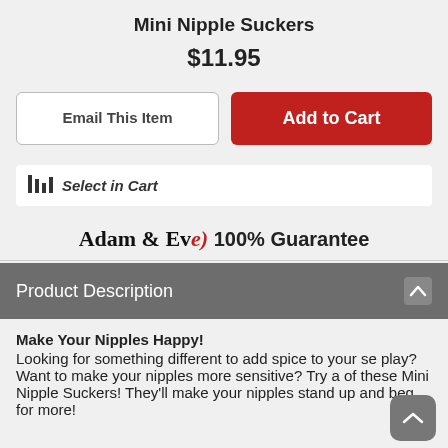Mini Nipple Suckers
$11.95
Email This Item
Add to Cart
Select in Cart
Adam & Eve 100% Guarantee
Product Description
Make Your Nipples Happy! Looking for something different to add spice to your se play? Want to make your nipples more sensitive? Try a of these Mini Nipple Suckers! They'll make your nipples stand up and beg for more!